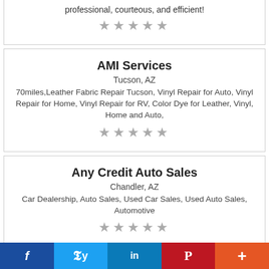professional, courteous, and efficient!
★★★★★
AMI Services
Tucson, AZ
70miles,Leather Fabric Repair Tucson, Vinyl Repair for Auto, Vinyl Repair for Home, Vinyl Repair for RV, Color Dye for Leather, Vinyl, Home and Auto,
★★★★★
Any Credit Auto Sales
Chandler, AZ
Car Dealership, Auto Sales, Used Car Sales, Used Auto Sales, Automotive
★★★★★
f  🐦  in  P  +